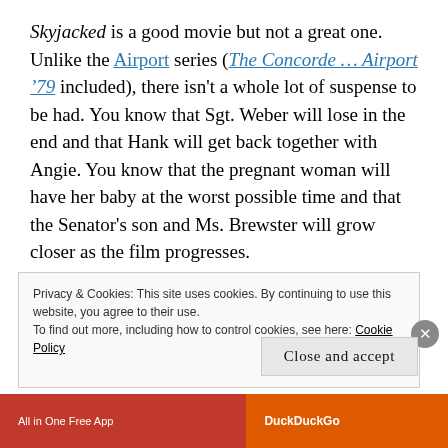Skyjacked is a good movie but not a great one. Unlike the Airport series (The Concorde … Airport '79 included), there isn't a whole lot of suspense to be had. You know that Sgt. Weber will lose in the end and that Hank will get back together with Angie. You know that the pregnant woman will have her baby at the worst possible time and that the Senator's son and Ms. Brewster will grow closer as the film progresses.
Privacy & Cookies: This site uses cookies. By continuing to use this website, you agree to their use.
To find out more, including how to control cookies, see here: Cookie Policy